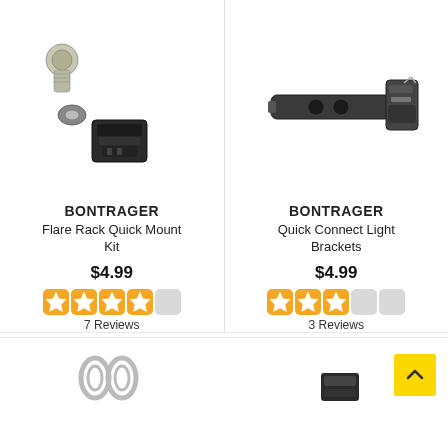[Figure (photo): Bontrager Flare Rack Quick Mount Kit — exploded view of screw, washer, and plastic mount bracket on white background]
[Figure (photo): Bontrager Quick Connect Light Brackets — dark plastic bar bracket with metal clip on white background]
BONTRAGER
Flare Rack Quick Mount Kit
$4.99
[Figure (other): 4-star rating out of 5 (orange stars)]
7 Reviews
BONTRAGER
Quick Connect Light Brackets
$4.99
[Figure (other): 3-star rating out of 5 (orange stars)]
3 Reviews
[Figure (photo): Partial view of metal cable clip/loop product at bottom left]
[Figure (photo): Partial view of black product at bottom right]
[Figure (other): Back-to-top button — yellow square with up chevron arrow]